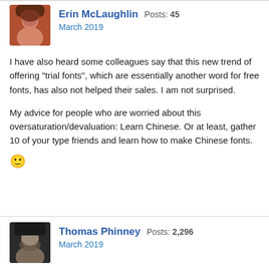Erin McLaughlin Posts: 45
March 2019
I have also heard some colleagues say that this new trend of offering "trial fonts", which are essentially another word for free fonts, has also not helped their sales. I am not surprised.
My advice for people who are worried about this oversaturation/devaluation: Learn Chinese. Or at least, gather 10 of your type friends and learn how to make Chinese fonts.
🙂
Thomas Phinney Posts: 2,296
March 2019
When the trial font was an unusual thing, it drew attention and was a differentiator.
Once it is commonplace, it doesn't help so much. I suspect trial fonts probably hurt sales, as they would drive away font...